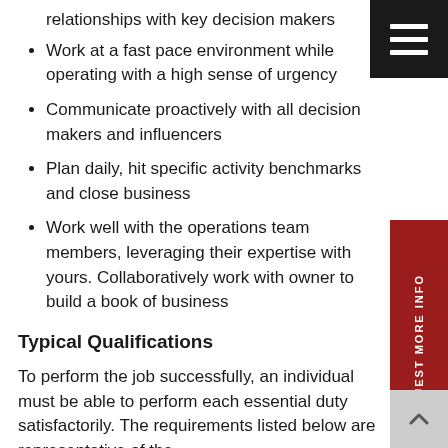relationships with key decision makers
Work at a fast pace environment while operating with a high sense of urgency
Communicate proactively with all decision makers and influencers
Plan daily, hit specific activity benchmarks and close business
Work well with the operations team members, leveraging their expertise with yours. Collaboratively work with owner to build a book of business
Typical Qualifications
To perform the job successfully, an individual must be able to perform each essential duty satisfactorily. The requirements listed below are representative of the